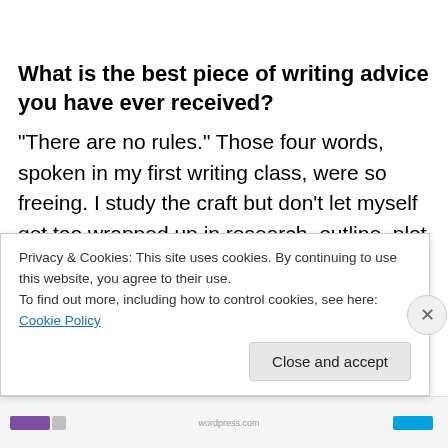What is the best piece of writing advice you have ever received?
“There are no rules.” Those four words, spoken in my first writing class, were so freeing. I study the craft but don’t let myself get too wrapped up in research, outline, plot points, story engines, etc.
Can you tell us a bit about your upcoming projects?
Privacy & Cookies: This site uses cookies. By continuing to use this website, you agree to their use.
To find out more, including how to control cookies, see here: Cookie Policy
Close and accept